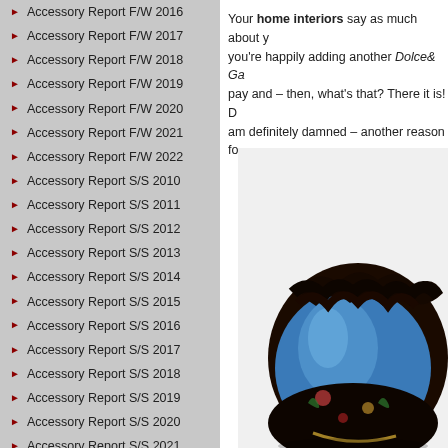Accessory Report F/W 2016
Accessory Report F/W 2017
Accessory Report F/W 2018
Accessory Report F/W 2019
Accessory Report F/W 2020
Accessory Report F/W 2021
Accessory Report F/W 2022
Accessory Report S/S 2010
Accessory Report S/S 2011
Accessory Report S/S 2012
Accessory Report S/S 2013
Accessory Report S/S 2014
Accessory Report S/S 2015
Accessory Report S/S 2016
Accessory Report S/S 2017
Accessory Report S/S 2018
Accessory Report S/S 2019
Accessory Report S/S 2020
Accessory Report S/S 2021
Accessory Report S/S 2022
Advertising Campaigns
Animals
Art
Your home interiors say as much about y... you're happily adding another Dolce& Ga... pay and – then, what's that? There it is! D... am definitely damned – another reason fo... covered in som...
[Figure (photo): A decorative luxury handbag covered in blue satin with dark floral embroidery and ruffled fabric trim, shown against a white background.]